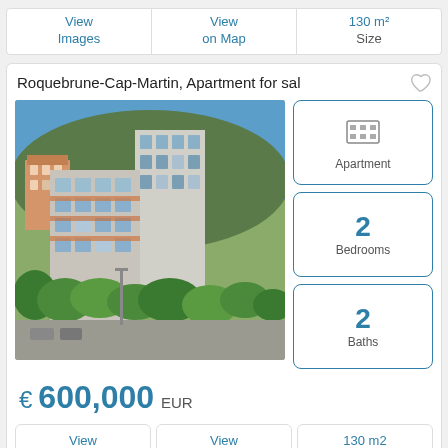View Images | View on Map | 130 m2 Size
Roquebrune-Cap-Martin, Apartment for sal
[Figure (photo): Aerial/elevated view of apartment buildings surrounded by trees and Mediterranean vegetation in Roquebrune-Cap-Martin]
Apartment
2 Bedrooms
2 Baths
€ 600,000 EUR
View Images
View on Map
130 m2 Size
Le Plan-De-La-Tour, House for sale
[Figure (photo): House surrounded by trees and garden, partial view]
House-Villa